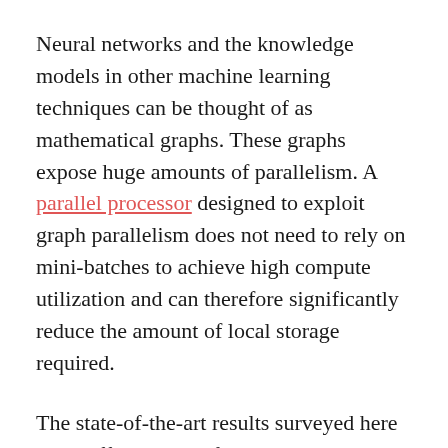Neural networks and the knowledge models in other machine learning techniques can be thought of as mathematical graphs. These graphs expose huge amounts of parallelism. A parallel processor designed to exploit graph parallelism does not need to rely on mini-batches to achieve high compute utilization and can therefore significantly reduce the amount of local storage required.
The state-of-the-art results surveyed here show efficient use of memory through reuse and trading increased computation for reduced memory use. These techniques can deliver dramatic improvements in the performance of neural networks. Today's GPUs and CPUs have very limited on-chip memory, just a few MBs in aggregate. New...